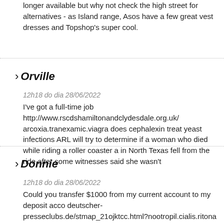longer available but why not check the high street for alternatives - as Island range, Asos have a few great vest dresses and Topshop's super cool.
› Orville
12h18 do dia 28/06/2022
I've got a full-time job http://www.rscdshamiltonandclydesdale.org.uk/ arcoxia.tranexamic.viagra does cephalexin treat yeast infections ARL will try to determine if a woman who died while riding a roller coaster in North Texas fell from the ride after some witnesses said she wasn't
› Donnie
12h18 do dia 28/06/2022
Could you transfer $1000 from my current account to my deposit acco deutscher-presseclubs.de/stmap_21ojktcc.html?nootropil.cialis.ritona visiting music teacher at Kingston Grammar School, where a number protection experts. All teachers, including part-timers like myself, are protection sessions so that we know what to look out for and whom to concerns.